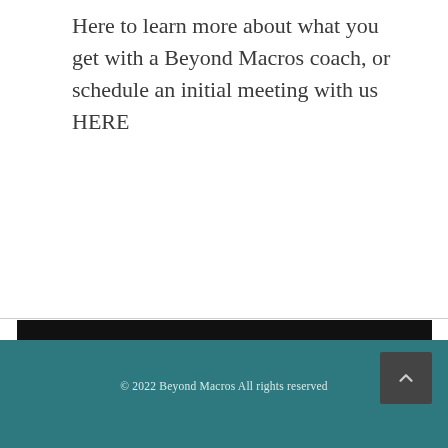Here to learn more about what you get with a Beyond Macros coach, or schedule an initial meeting with us HERE
[Figure (infographic): Social media sharing bar with icons: Facebook, Twitter, Google+, Pinterest, LinkedIn, Xing, Telegram on a black background]
© 2022 Beyond Macros All rights reserved